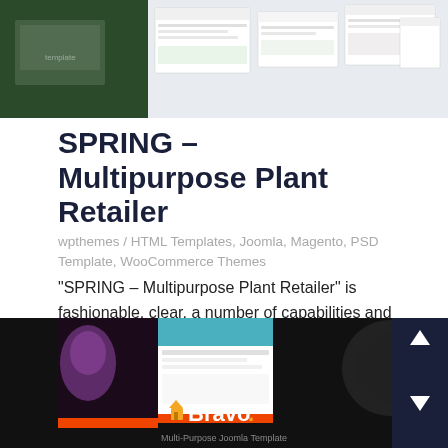[Figure (screenshot): Website template preview screenshots showing plant retailer and other web themes]
SPRING – Multipurpose Plant Retailer
wpthemes / HTML Templates, Joomla, Magento, PSD Template, WooCommerce Themes
“SPRING – Multipurpose Plant Retailer” is fashionable, clear, a number of capabilities and professionally. It has 22 homepage
READ MORE
[Figure (screenshot): Bottom preview showing Bravo Multi-Purpose Joomla Template with dark background and orange/teal accents]